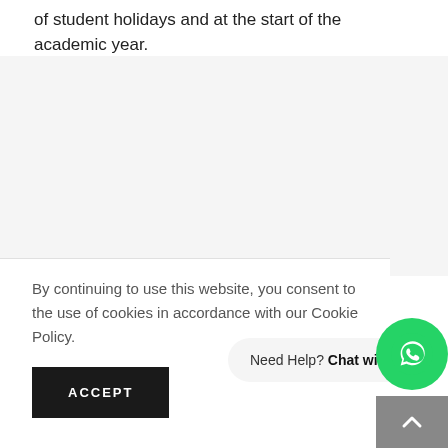of student holidays and at the start of the academic year.
By continuing to use this website, you consent to the use of cookies in accordance with our Cookie Policy.
ACCEPT
Need Help? Chat with us